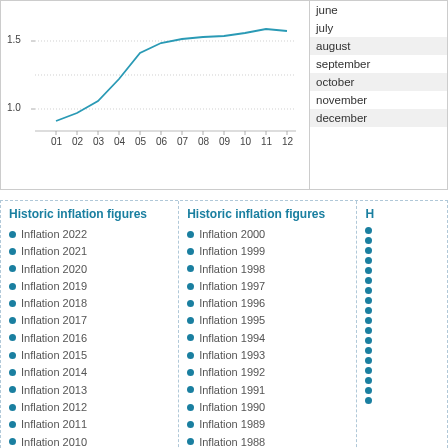[Figure (line-chart): Line chart showing inflation data across months 01-12, y-axis from 1.0 to 1.5+]
june
july
august
september
october
november
december
Historic inflation figures
Historic inflation figures
Inflation 2022
Inflation 2021
Inflation 2020
Inflation 2019
Inflation 2018
Inflation 2017
Inflation 2016
Inflation 2015
Inflation 2014
Inflation 2013
Inflation 2012
Inflation 2011
Inflation 2010
Inflation 2009
Inflation 2008
Inflation 2007
Inflation 2006
Inflation 2005
Inflation 2004
Inflation 2000
Inflation 1999
Inflation 1998
Inflation 1997
Inflation 1996
Inflation 1995
Inflation 1994
Inflation 1993
Inflation 1992
Inflation 1991
Inflation 1990
Inflation 1989
Inflation 1988
Inflation 1987
Inflation 1986
Inflation 1985
Inflation 1984
Inflation 1983